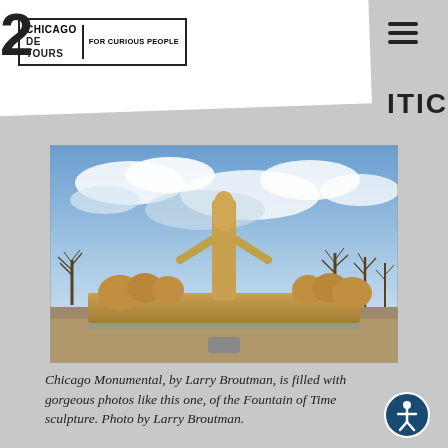Chicago DeTours | For Curious People
[Figure (photo): Photograph of the Fountain of Time sculpture in Chicago — a large golden-tan stone sculpture with a tall central robed figure and flanking horizontal relief of figures, set against a blue cloudy sky with bare winter trees in the background. Photo by Larry Broutman.]
Chicago Monumental, by Larry Broutman, is filled with gorgeous photos like this one, of the Fountain of Time sculpture. Photo by Larry Broutman.